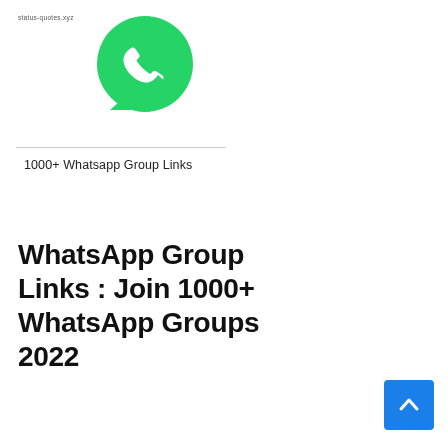status-quotes.xyz
[Figure (logo): WhatsApp logo: green circle with white phone handset icon and speech bubble]
1000+ Whatsapp Group Links
WhatsApp Group Links : Join 1000+ WhatsApp Groups  2022